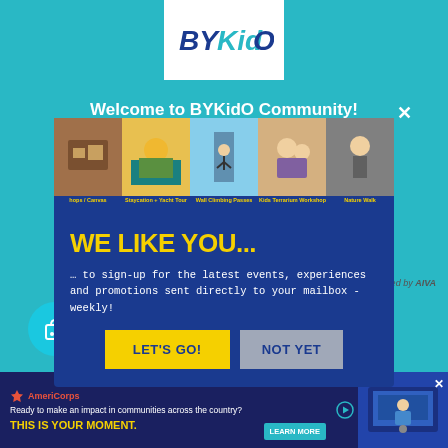[Figure (logo): BYKidO logo - stylized text in blue and teal on white background]
Welcome to BYKidO Community!
[Figure (screenshot): Modal popup overlay with image strip showing activity thumbnails (Shops/Canvas, Staycation + Yacht Tour, Wall Climbing Passes, Kids Terrarium Workshop, Nature Walk), headline 'WE LIKE YOU...', subtext '... to sign-up for the latest events, experiences and promotions sent directly to your mailbox - weekly!', and two buttons: 'LET'S GO!' and 'NOT YET']
Write a post
Menu
Powered by AIVA
Share Your Experience
JY  Jiarong Yu
[Figure (screenshot): AmeriCorps advertisement banner: 'Ready to make an impact in communities across the country? THIS IS YOUR MOMENT.' with LEARN MORE button and image of person at computer]